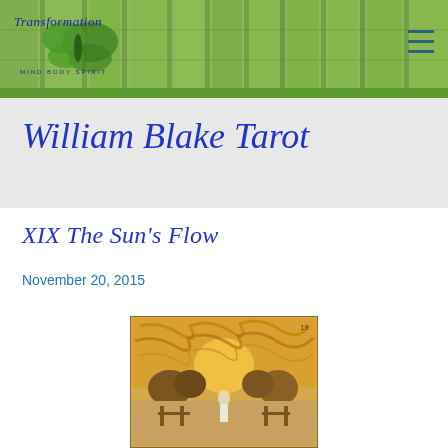[Figure (screenshot): Website header banner with green bamboo background, butterfly logo with italic script 'Transformation' text, and hamburger menu icon on the right]
William Blake Tarot
XIX The Sun's Flow
November 20, 2015
[Figure (illustration): Tarot card image showing The Sun card from the William Blake Tarot deck, with swirling golden sun rays, trees, and a figure in a pastoral scene with brown and golden tones]